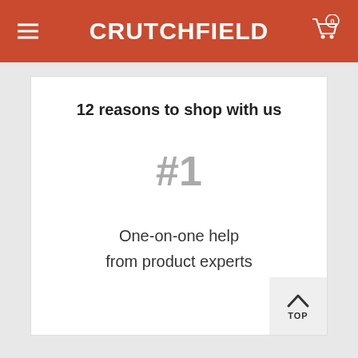CRUTCHFIELD
12 reasons to shop with us
#1
One-on-one help from product experts